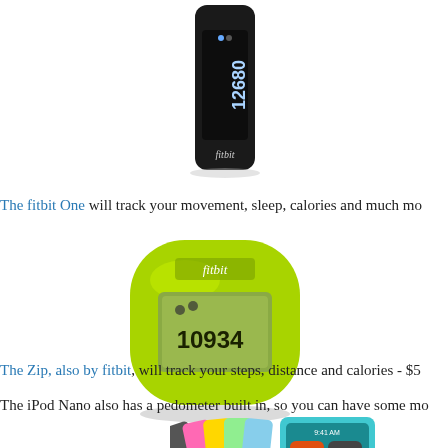[Figure (photo): Fitbit One device in black, showing the number 12680 on its display, with the fitbit logo below]
The fitbit One will track your movement, sleep, calories and much more
[Figure (photo): Fitbit Zip device in lime green, showing the number 10934 on its LCD display, with the fitbit logo above the screen]
The Zip, also by fitbit, will track your steps, distance and calories - $5
The iPod Nano also has a pedometer built in, so you can have some more
[Figure (photo): iPod Nano devices in multiple colors shown fanned out on the left, with a turquoise iPod Nano on the right showing its screen with Music and Videos icons]